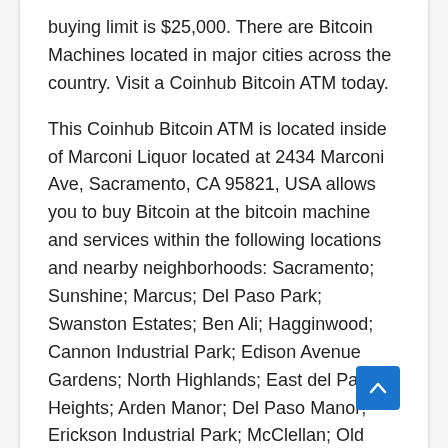buying limit is $25,000. There are Bitcoin Machines located in major cities across the country. Visit a Coinhub Bitcoin ATM today.
This Coinhub Bitcoin ATM is located inside of Marconi Liquor located at 2434 Marconi Ave, Sacramento, CA 95821, USA allows you to buy Bitcoin at the bitcoin machine and services within the following locations and nearby neighborhoods: Sacramento; Sunshine; Marcus; Del Paso Park; Swanston Estates; Ben Ali; Hagginwood; Cannon Industrial Park; Edison Avenue Gardens; North Highlands; East del Paso Heights; Arden Manor; Del Paso Manor; Erickson Industrial Park; McClellan; Old North Sacramento; South Hagginwood; Arden Fair; Village Green; Ralley Industrial Park; Parker Homes; Cal Expo; Point West; Arden Park Vista; Del Paso Heights; Oak Knoll; Carmichael; Robla; Phantom View Ranch; Richardson